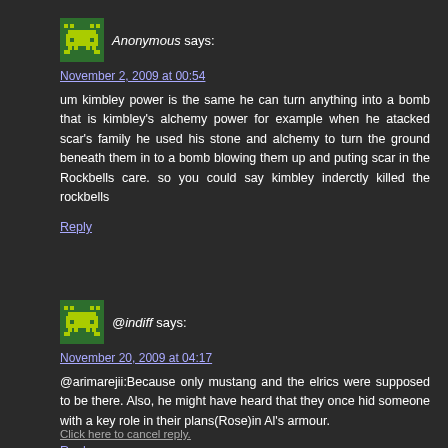[Figure (illustration): Pixel art avatar icon showing a green space-invader style character on dark green background]
Anonymous says:
November 2, 2009 at 00:54
um kimbley power is the same he can turn anything into a bomb that is kimbley's alchemy power for example when he atacked scar's family he used his stone and alchemy to turn the ground beneath them in to a bomb blowing them up and puting scar in the Rockbells care. so you could say kimbley inderctly killed the rockbells
Reply
[Figure (illustration): Pixel art avatar icon showing a green space-invader style character on dark green background]
@indiff says:
November 20, 2009 at 04:17
@arimarejii:Because only mustang and the elrics were supposed to be there. Also, he might have heard that they once hid someone with a key role in their plans(Rose)in Al's armour.
Reply
Click here to cancel reply.